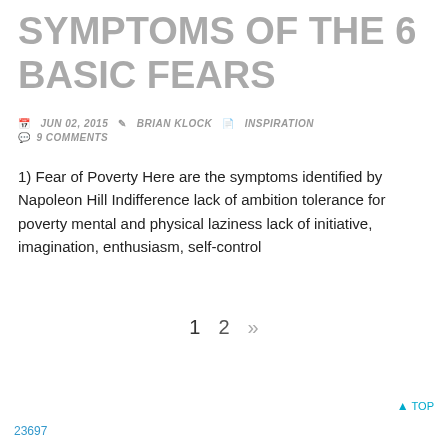SYMPTOMS OF THE 6 BASIC FEARS
JUN 02, 2015  BRIAN KLOCK  INSPIRATION  9 COMMENTS
1) Fear of Poverty Here are the symptoms identified by Napoleon Hill Indifference lack of ambition tolerance for poverty mental and physical laziness lack of initiative, imagination, enthusiasm, self-control
1  2  »  ↑ TOP  23697